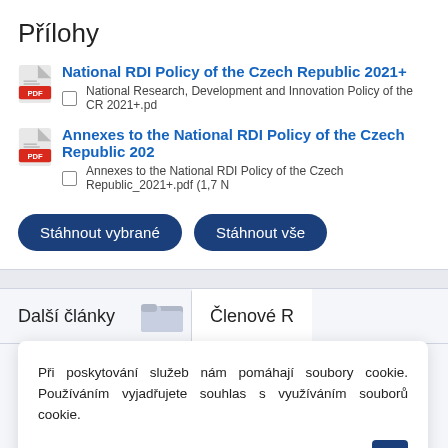Přílohy
National RDI Policy of the Czech Republic 2021+
National Research, Development and Innovation Policy of the CR 2021+.pd
Annexes to the National RDI Policy of the Czech Republic 202
Annexes to the National RDI Policy of the Czech Republic_2021+.pdf (1,7 N
Stáhnout vybrané   Stáhnout vše
Další články
Členové R
Ja
Řa
a
Při poskytování služeb nám pomáhají soubory cookie. Používáním vyjadřujete souhlas s využíváním souborů cookie.